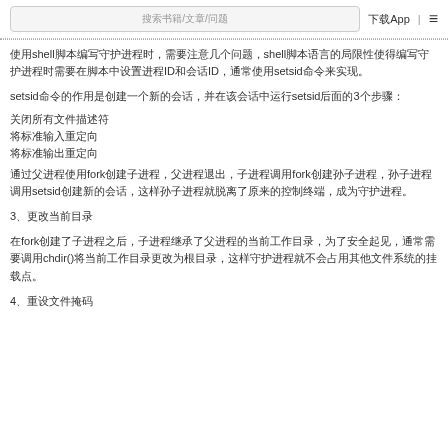搜索书籍/文章/问题  下载App  |  ≡
使用shell脚本编写守护进程时，需要注意几个问题，shell脚本语言的局限性使得编写守护进程时需要在脚本中设置进程ID和会话ID，通常使用setsid命令来实现。
setsid命令的作用是创建一个新的会话，并在该会话中运行setsid后面的3个步骤：
关闭所有文件描述符
将标准输入重定向
将标准输出重定向
通过父进程使用fork创建子进程，父进程退出，子进程调用fork创建孙子进程，孙子进程调用setsid创建新的会话，这样孙子进程就脱离了原来的控制终端，成为守护进程。
3、更改当前目录
在fork创建了子进程之后，子进程继承了父进程的当前工作目录，为了安全起见，通常需要调用chdir()将当前工作目录更改为根目录，这样守护进程就不会占用其他文件系统的挂载点。
4、重设文件掩码